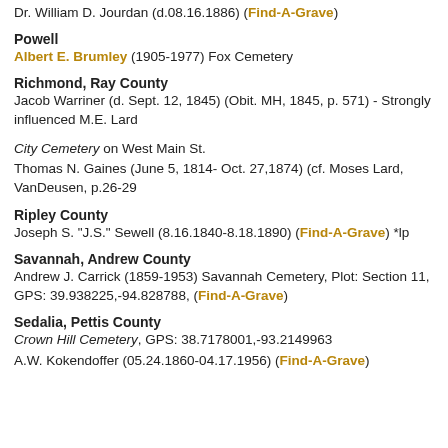Dr. William D. Jourdan (d.08.16.1886) (Find-A-Grave)
Powell
Albert E. Brumley (1905-1977) Fox Cemetery
Richmond, Ray County
Jacob Warriner (d. Sept. 12, 1845) (Obit. MH, 1845, p. 571) - Strongly influenced M.E. Lard
City Cemetery on West Main St.
Thomas N. Gaines (June 5, 1814- Oct. 27,1874) (cf. Moses Lard, VanDeusen, p.26-29
Ripley County
Joseph S. "J.S." Sewell (8.16.1840-8.18.1890) (Find-A-Grave) *lp
Savannah, Andrew County
Andrew J. Carrick (1859-1953) Savannah Cemetery, Plot: Section 11, GPS: 39.938225,-94.828788, (Find-A-Grave)
Sedalia, Pettis County
Crown Hill Cemetery, GPS: 38.7178001,-93.2149963
A.W. Kokendoffer (05.24.1860-04.17.1956) (Find-A-Grave)